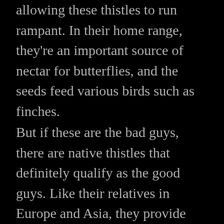allowing these thistles to run rampant. In their home range, they're an important source of nectar for butterflies, and the seeds feed various birds such as finches.
But if these are the bad guys, there are native thistles that definitely qualify as the good guys. Like their relatives in Europe and Asia, they provide food for pollinators, seed-eaters, and browsing wildlife. Some are quite beautiful.